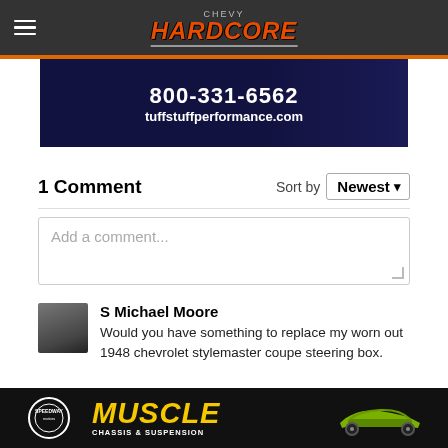Chevy Hardcore
[Figure (photo): TuffStuff Performance advertisement banner showing 800-331-6562 and tuffstuffperformance.com]
1 Comment
Sort by Newest
Add a comment...
S Michael Moore
Would you have something to replace my worn out 1948 chevrolet stylemaster coupe steering box.
[Figure (photo): Speedway Motors Muscle Chassis & Suspension advertisement at bottom]